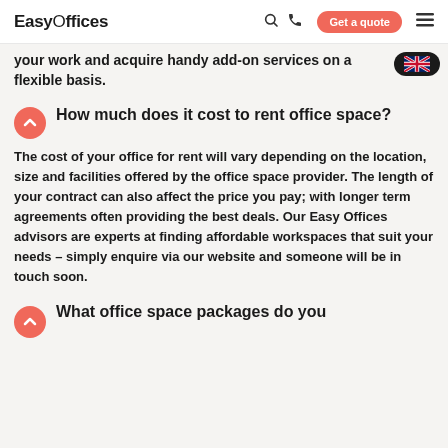EasyOffices | Get a quote
your work and acquire handy add-on services on a flexible basis.
How much does it cost to rent office space?
The cost of your office for rent will vary depending on the location, size and facilities offered by the office space provider. The length of your contract can also affect the price you pay; with longer term agreements often providing the best deals. Our Easy Offices advisors are experts at finding affordable workspaces that suit your needs – simply enquire via our website and someone will be in touch soon.
What office space packages do you